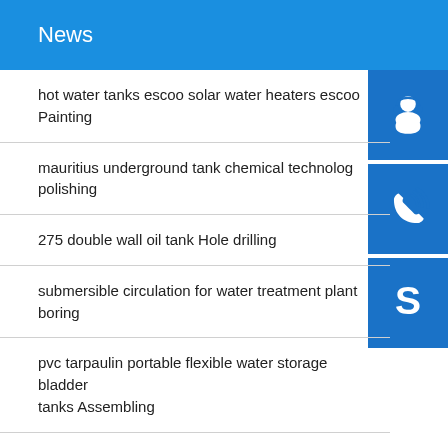News
hot water tanks escoo solar water heaters escoo Painting
mauritius underground tank chemical technolog polishing
275 double wall oil tank Hole drilling
submersible circulation for water treatment plant boring
pvc tarpaulin portable flexible water storage bladder tanks Assembling
vertical stainless steel storage tanks Argon arc